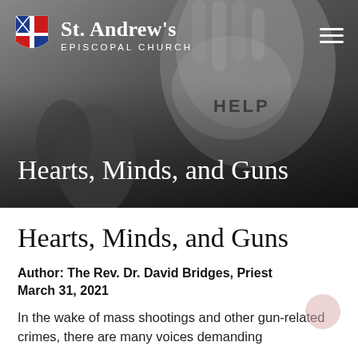[Figure (photo): Black and white photo of a child holding up their hand toward the camera with text written on the palm, used as hero banner background for an article about gun violence]
St. Andrew's EPISCOPAL CHURCH
Hearts, Minds, and Guns
Hearts, Minds, and Guns
Author: The Rev. Dr. David Bridges, Priest
March 31, 2021
In the wake of mass shootings and other gun-related crimes, there are many voices demanding